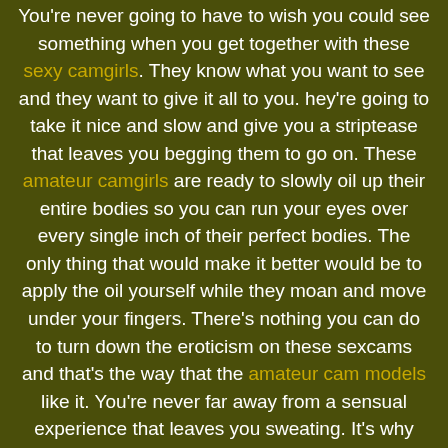You're never going to have to wish you could see something when you get together with these sexy camgirls. They know what you want to see and they want to give it all to you. hey're going to take it nice and slow and give you a striptease that leaves you begging them to go on. These amateur camgirls are ready to slowly oil up their entire bodies so you can run your eyes over every single inch of their perfect bodies. The only thing that would make it better would be to apply the oil yourself while they moan and move under your fingers. There's nothing you can do to turn down the eroticism on these sexcams and that's the way that the amateur cam models like it. You're never far away from a sensual experience that leaves you sweating. It's why these naughty girls get on cam in the first place and they love making you squirm.